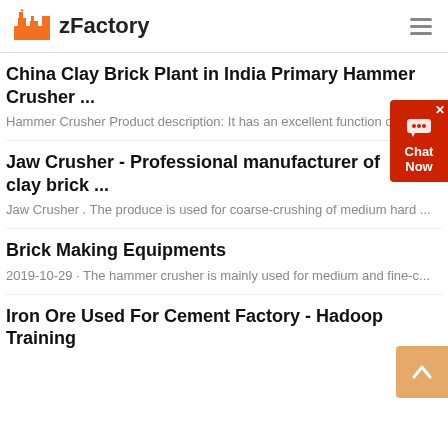zFactory
China Clay Brick Plant in India Primary Hammer Crusher ...
Hammer Crusher Product description: It has an excellent function of a
Jaw Crusher - Professional manufacturer of clay brick ...
Jaw Crusher . The produce is used for coarse-crushing of medium hard ...
Brick Making Equipments
2019-10-29 · The hammer crusher is mainly used for medium and fine-c...
Iron Ore Used For Cement Factory - Hadoop Training